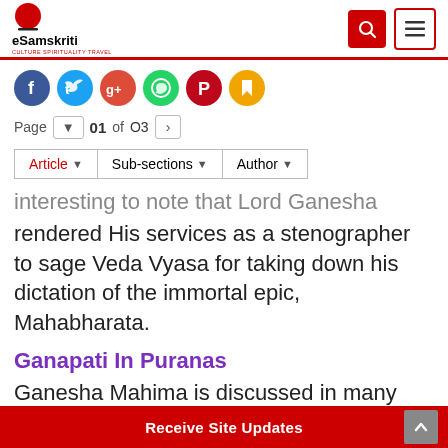eSamskriti — CULTURE SPIRITUALITY TRAVEL
[Figure (logo): eSamskriti logo with red circle and text]
[Figure (infographic): Social share icons: Facebook, Twitter, Google+, WhatsApp, Pinterest, Bookmark]
Page 01 of 03
Article | Sub-sections | Author
interesting to note that Lord Ganesha rendered His services as a stenographer to sage Veda Vyasa for taking down his dictation of the immortal epic, Mahabharata.
Ganapati In Puranas
Ganesha Mahima is discussed in many Puranas. Ganesha Purana, wherein Ganesha
Receive Site Updates